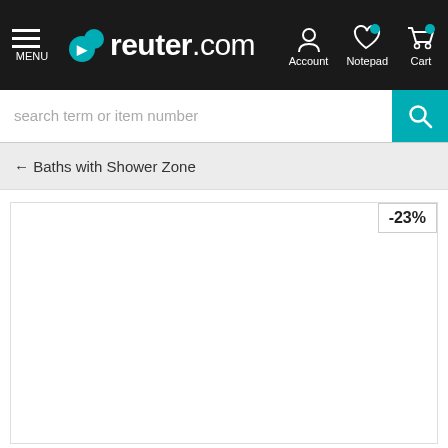[Figure (screenshot): reuter.com website navigation bar with hamburger menu, logo, Account, Notepad, and Cart icons]
search term or item number
← Baths with Shower Zone
-23%